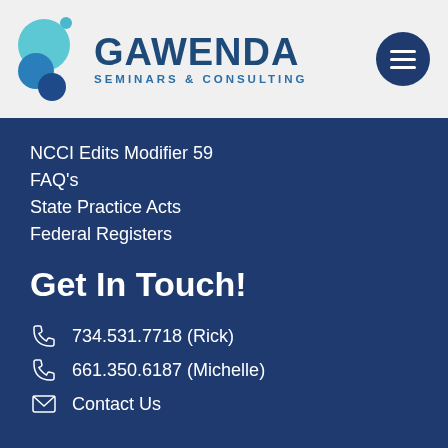[Figure (logo): Gawenda Seminars & Consulting logo with circular bubble shapes in teal and blue, text GAWENDA in dark blue bold, SEMINARS & CONSULTING in smaller blue caps]
NCCI Edits Modifier 59
FAQ's
State Practice Acts
Federal Registers
Get In Touch!
734.531.7718 (Rick)
661.350.6187 (Michelle)
Contact Us